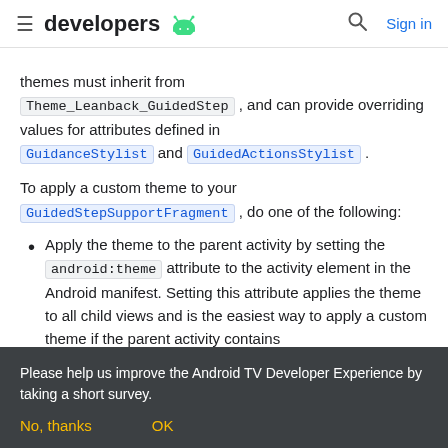≡ developers [android logo] [search icon] Sign in
themes must inherit from Theme_Leanback_GuidedStep , and can provide overriding values for attributes defined in GuidanceStylist and GuidedActionsStylist .
To apply a custom theme to your GuidedStepSupportFragment , do one of the following:
Apply the theme to the parent activity by setting the android:theme attribute to the activity element in the Android manifest. Setting this attribute applies the theme to all child views and is the easiest way to apply a custom theme if the parent activity contains
Please help us improve the Android TV Developer Experience by taking a short survey.
No, thanks   OK